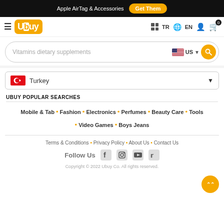Apple AirTag & Accessories  Get Them
[Figure (logo): Ubuy logo with orange square background, navigation bar with hamburger menu, grid icon, TR, globe EN, user icon, cart with badge 0]
Vitamins dietary supplements  US (search bar with US flag and search button)
Turkey (country selector dropdown)
UBUY POPULAR SEARCHES
Mobile & Tab • Fashion • Electronics • Perfumes • Beauty Care • Tools • Video Games • Boys Jeans
Terms & Conditions • Privacy Policy • About Us • Contact Us
Follow Us (with Facebook, Instagram, YouTube, Twitter icons)
Copyright © 2022 Ubuy Co. All rights reserved.